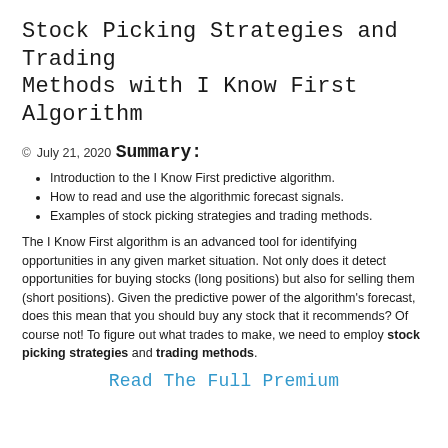Stock Picking Strategies and Trading Methods with I Know First Algorithm
© July 21, 2020
Summary:
Introduction to the I Know First predictive algorithm.
How to read and use the algorithmic forecast signals.
Examples of stock picking strategies and trading methods.
The I Know First algorithm is an advanced tool for identifying opportunities in any given market situation. Not only does it detect opportunities for buying stocks (long positions) but also for selling them (short positions). Given the predictive power of the algorithm's forecast, does this mean that you should buy any stock that it recommends? Of course not! To figure out what trades to make, we need to employ stock picking strategies and trading methods.
Read The Full Premium